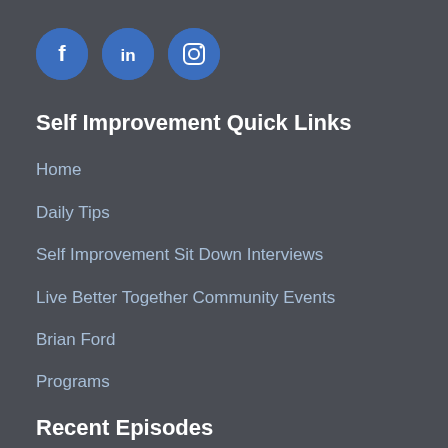[Figure (illustration): Three social media icons in blue circles: Facebook (f), LinkedIn (in), and Instagram (camera icon)]
Self Improvement Quick Links
Home
Daily Tips
Self Improvement Sit Down Interviews
Live Better Together Community Events
Brian Ford
Programs
Recent Episodes